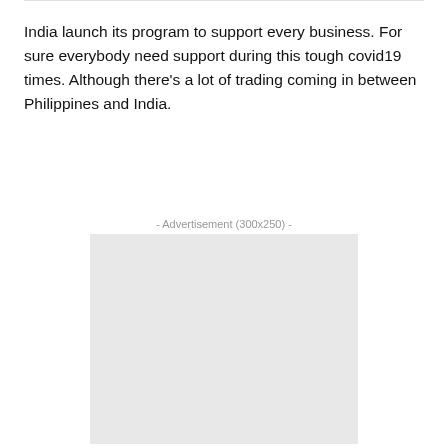India launch its program to support every business. For sure everybody need support during this tough covid19 times. Although there's a lot of trading coming in between Philippines and India.
- Advertisement (300x250) -
[Figure (other): Gray placeholder advertisement box (300x250)]